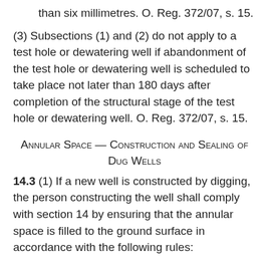than six millimetres. O. Reg. 372/07, s. 15.
(3) Subsections (1) and (2) do not apply to a test hole or dewatering well if abandonment of the test hole or dewatering well is scheduled to take place not later than 180 days after completion of the structural stage of the test hole or dewatering well. O. Reg. 372/07, s. 15.
Annular Space — Construction and Sealing of Dug Wells
14.3 (1) If a new well is constructed by digging, the person constructing the well shall comply with section 14 by ensuring that the annular space is filled to the ground surface in accordance with the following rules: